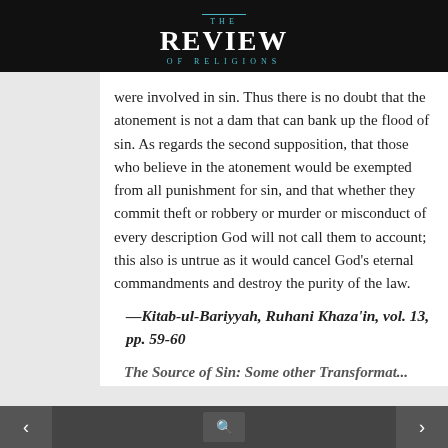THE REVIEW OF RELIGIONS
were involved in sin. Thus there is no doubt that the atonement is not a dam that can bank up the flood of sin. As regards the second supposition, that those who believe in the atonement would be exempted from all punishment for sin, and that whether they commit theft or robbery or murder or misconduct of every description God will not call them to account; this also is untrue as it would cancel God’s eternal commandments and destroy the purity of the law.
—Kitab-ul-Bariyyah, Ruhani Khaza’in, vol. 13, pp. 59-60
The Source of Sin: Some other Transformations